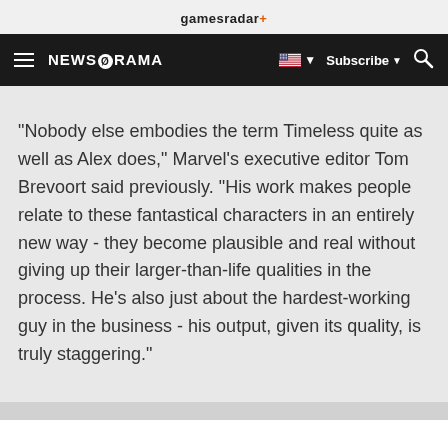gamesradar+
NEWSARAMA  Subscribe
"Nobody else embodies the term Timeless quite as well as Alex does," Marvel's executive editor Tom Brevoort said previously. "His work makes people relate to these fantastical characters in an entirely new way - they become plausible and real without giving up their larger-than-life qualities in the process. He's also just about the hardest-working guy in the business - his output, given its quality, is truly staggering."